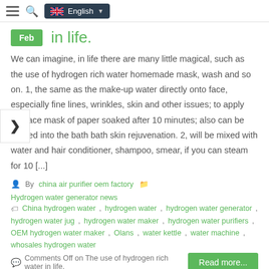English (language selector)
in life.
We can imagine, in life there are many little magical, such as the use of hydrogen rich water homemade mask, wash and so on. 1, the same as the make-up water directly onto face, especially fine lines, wrinkles, skin and other issues; to apply the face mask of paper soaked after 10 minutes; also can be poured into the bath bath skin rejuvenation. 2, will be mixed with water and hair conditioner, shampoo, smear, if you can steam for 10 [...]
By china air purifier oem factory   Hydrogen water generator news
China hydrogen water, hydrogen water, hydrogen water generator, hydrogen water jug, hydrogen water maker, hydrogen water purifiers, OEM hydrogen water maker, Olans, water kettle, water machine, whosales hydrogen water
Comments Off on The use of hydrogen rich water in life.